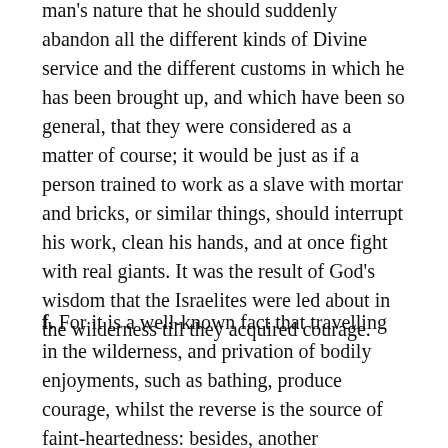man's nature that he should suddenly abandon all the different kinds of Divine service and the different customs in which he has been brought up, and which have been so general, that they were considered as a matter of course; it would be just as if a person trained to work as a slave with mortar and bricks, or similar things, should interrupt his work, clean his hands, and at once fight with real giants. It was the result of God's wisdom that the Israelites were led about in the wilderness till they acquired courage.
f. For it is a well-known fact that travelling in the wilderness, and privation of bodily enjoyments, such as bathing, produce courage, whilst the reverse is the source of faint-heartedness: besides, another generation rose during the wanderings that had not been accustomed to degradation and slavery. All the